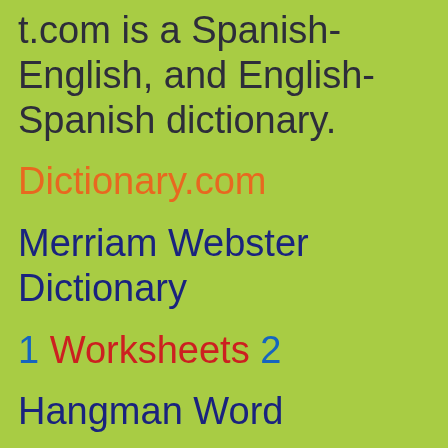t.com is a Spanish-English, and English-Spanish dictionary.
Dictionary.com
Merriam Webster Dictionary
1 Worksheets 2
Hangman Word